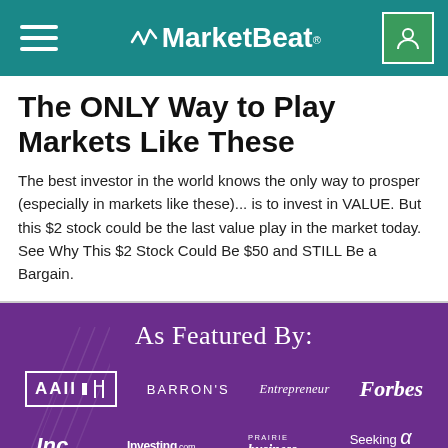MarketBeat
The ONLY Way to Play Markets Like These
The best investor in the world knows the only way to prosper (especially in markets like these)... is to invest in VALUE. But this $2 stock could be the last value play in the market today. See Why This $2 Stock Could Be $50 and STILL Be a Bargain.
As Featured By:
[Figure (logo): Logos of publications: AAII, BARRON'S, Entrepreneur, Forbes, Inc., Investing.com, PRAIRIE business, Seeking Alpha on a purple background]